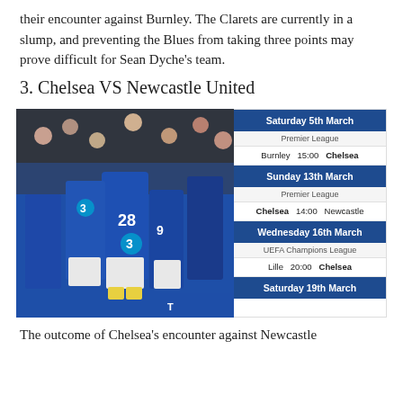their encounter against Burnley. The Clarets are currently in a slump, and preventing the Blues from taking three points may prove difficult for Sean Dyche's team.
3. Chelsea VS Newcastle United
[Figure (photo): Chelsea football players in blue kits celebrating on the pitch, with player number 28 visible. Taken during a Premier League match.]
| Date | Competition | Match |
| --- | --- | --- |
| Saturday 5th March | Premier League | Burnley  15:00  Chelsea |
| Sunday 13th March | Premier League | Chelsea  14:00  Newcastle |
| Wednesday 16th March | UEFA Champions League | Lille  20:00  Chelsea |
| Saturday 19th March |  |  |
The outcome of Chelsea's encounter against Newcastle